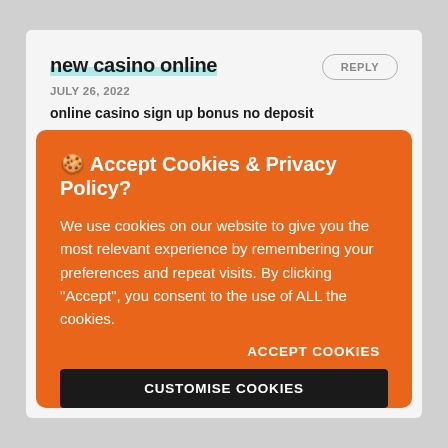new casino online
JULY 26, 2022
online casino sign up bonus no deposit
🍪 Accept Cookies & Privacy Policy?
We use cookies on our website to give you the most relevant experience by remembering your preferences and repeat visits. By clicking "Accept", you consent to the use of ALL the cookies.
ACCEPT COOKIES
CUSTOMISE COOKIES